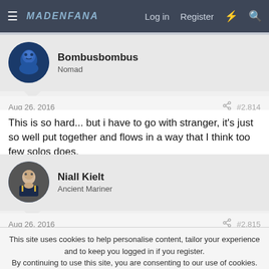MaidenFans — Log in  Register
Bombusbombus
Nomad
Aug 26, 2016  #2,814
This is so hard... but i have to go with stranger, it's just so well put together and flows in a way that I think too few solos does.
Niall Kielt
Ancient Mariner
Aug 26, 2016  #2,815
This site uses cookies to help personalise content, tailor your experience and to keep you logged in if you register.
By continuing to use this site, you are consenting to our use of cookies.